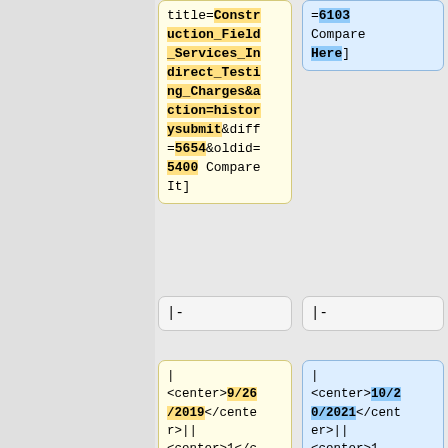title=Construction_Field_Services_Indirect_Testing_Charges&action=historysubmit&diff=5654&oldid=5400 Compare It]
=6103 Compare Here]
|-
|-
| <center>9/26/2019</center>|| <center>1</center>|| <center>[[Materials_Quality_Assu
| <center>10/20/2021</center>|| <center>1 Supplemental</center>|| <center>[[108.01_Sub